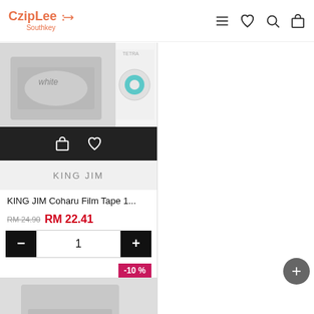CzipLee Southkey
[Figure (screenshot): Product listing page from CzipLee Southkey online store showing two KING JIM Coharu Film Tape products with prices RM 22.41 (original RM 24.90), quantity selectors, and -10% discount badges]
KING JIM
KING JIM
KING JIM Coharu Film Tape 1...
KING JIM Coharu Film Tape 1...
RM 24.90  RM 22.41
RM 24.90  RM 22.41
-10 %
-10 %